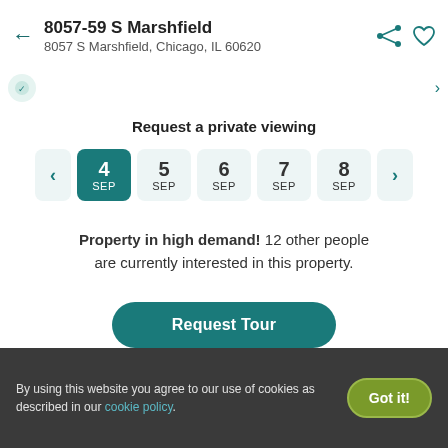8057-59 S Marshfield
8057 S Marshfield, Chicago, IL 60620
Request a private viewing
4 SEP, 5 SEP, 6 SEP, 7 SEP, 8 SEP (date selector; 4 SEP selected)
Property in high demand! 12 other people are currently interested in this property.
Request Tour
By using this website you agree to our use of cookies as described in our cookie policy.
Got it!